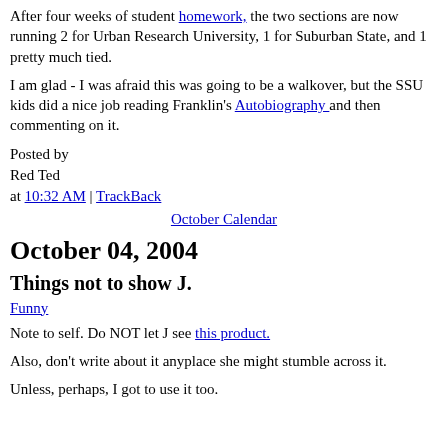After four weeks of student homework, the two sections are now running 2 for Urban Research University, 1 for Suburban State, and 1 pretty much tied.
I am glad - I was afraid this was going to be a walkover, but the SSU kids did a nice job reading Franklin's Autobiography and then commenting on it.
Posted by
Red Ted
at 10:32 AM | TrackBack
October Calendar
October 04, 2004
Things not to show J.
Funny
Note to self. Do NOT let J see this product.
Also, don't write about it anyplace she might stumble across it.
Unless, perhaps, I got to use it too.